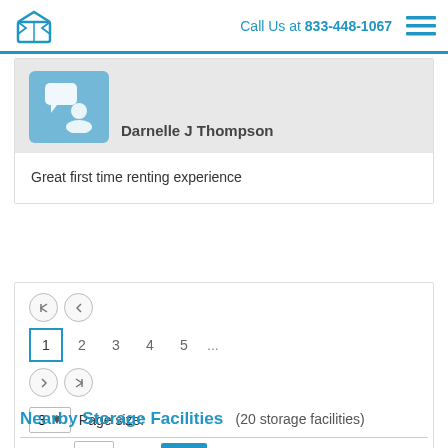Call Us at 833-448-1067
Darnelle J Thompson
Great first time renting experience
1 2 3 4 5 ...
3  Page size:
Page: 1 of 11 Go
Nearby Storage Facilities (20 storage facilities)